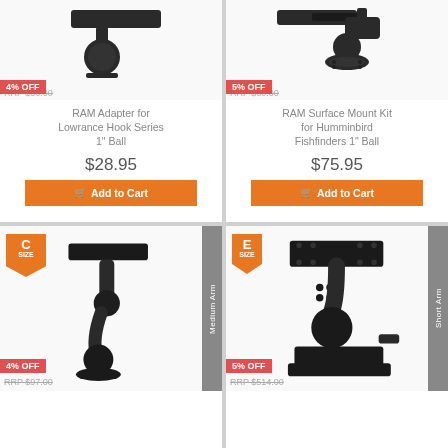[Figure (photo): RAM Adapter for Lowrance Hook Series 1 inch Ball mount product photo, showing black ball mount adapter. Badge: 4% OFF. RRP $30.00]
RAM Adapter for Lowrance Hook Series 1" Ball
$28.95
Add to Cart
[Figure (photo): RAM Surface Mount Kit for Humminbird Fishfinders 1 inch Ball product photo, showing black surface mount. Badge: 5% OFF. RRP $80.00]
RAM Surface Mount Kit for Humminbird Fishfinders 1" Ball
$75.95
Add to Cart
[Figure (photo): RAM mount product with C SIZE badge and Medium Arm label. Black ball mount with rectangular top plate. Badge: 4% OFF. RRP $97.00]
[Figure (photo): RAM mount product with E SIZE badge and Short Arm label. Large black ball mount with rectangular top plate and screws. Badge: 5% OFF. RRP $514.00]